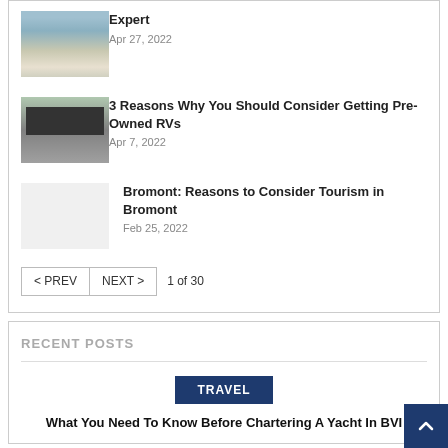[Figure (photo): Thumbnail photo of an RV/trailer on grass near water]
Expert
Apr 27, 2022
[Figure (photo): Thumbnail photo of a parking lot with RVs/vans]
3 Reasons Why You Should Consider Getting Pre-Owned RVs
Apr 7, 2022
[Figure (photo): Blank/placeholder thumbnail image]
Bromont: Reasons to Consider Tourism in Bromont
Feb 25, 2022
< PREV   NEXT >   1 of 30
RECENT POSTS
TRAVEL
What You Need To Know Before Chartering A Yacht In BVI